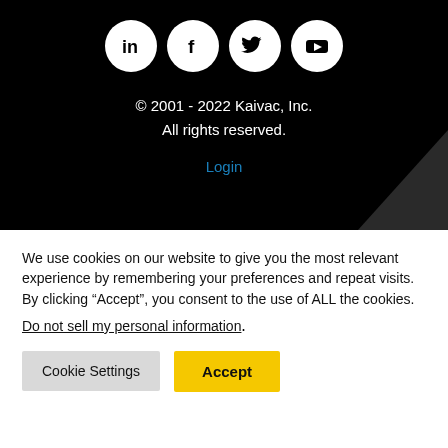[Figure (illustration): Four social media icons (LinkedIn, Facebook, Twitter, YouTube) as white circles on black background]
© 2001 - 2022 Kaivac, Inc.
All rights reserved.
Login
We use cookies on our website to give you the most relevant experience by remembering your preferences and repeat visits. By clicking “Accept”, you consent to the use of ALL the cookies.
Do not sell my personal information.
Cookie Settings
Accept